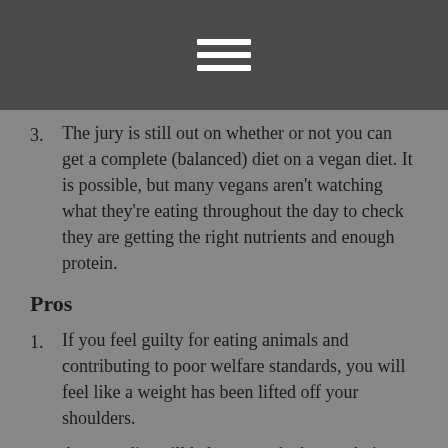≡
3. The jury is still out on whether or not you can get a complete (balanced) diet on a vegan diet. It is possible, but many vegans aren't watching what they're eating throughout the day to check they are getting the right nutrients and enough protein.
Pros
1. If you feel guilty for eating animals and contributing to poor welfare standards, you will feel like a weight has been lifted off your shoulders.
2. A vegan diet will help you make better choices, if you stick to it. Finding vegan junk food is often a test, so you'll eat healthily more often than you eat badly, as long as you don't eat chips all day.
3. You can pretty much eat as much as you want. If you're eating a clean diet of healthy grains, vegetables, fruits, and legumes, you can eat a lot of food in a day and